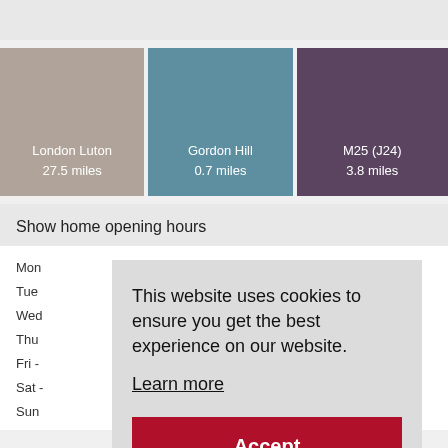[Figure (screenshot): Three color tiles: 'London Luton 27.5 miles' (tan), 'Gordon Hill 0.7 miles' (blue), 'M25 (J24) 3.8 miles' (purple)]
Show home opening hours
Mon
Tue
Wed
Thu
Fri -
Sat -
Sun
This website uses cookies to ensure you get the best experience on our website.
Learn more
Accept